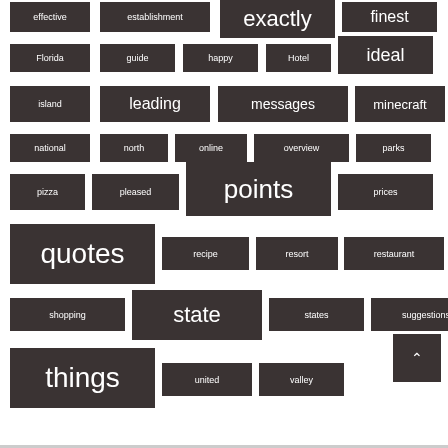[Figure (infographic): Tag cloud with dark rectangular tags of varying sizes representing words: effective, establishment, exactly, finest, Florida, guide, happy, Hotel, ideal, island, leading, messages, minecraft, national, north, online, overview, parks, pizza, pleased, points, prices, quotes, recipe, resort, restaurant, shopping, state, states, suggestions, things, united, valley]